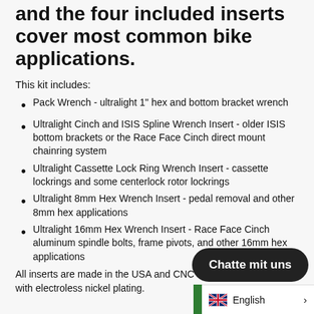and the four included inserts cover most common bike applications.
This kit includes:
Pack Wrench - ultralight 1" hex and bottom bracket wrench
Ultralight Cinch and ISIS Spline Wrench Insert - older ISIS bottom brackets or the Race Face Cinch direct mount chainring system
Ultralight Cassette Lock Ring Wrench Insert - cassette lockrings and some centerlock rotor lockrings
Ultralight 8mm Hex Wrench Insert - pedal removal and other 8mm hex applications
Ultralight 16mm Hex Wrench Insert - Race Face Cinch aluminum spindle bolts, frame pivots, and other 16mm hex applications
All inserts are made in the USA and CNC m... steel with electroless nickel plating.